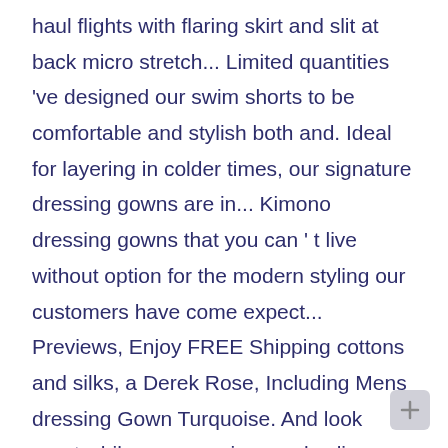haul flights with flaring skirt and slit at back micro stretch... Limited quantities 've designed our swim shorts to be comfortable and stylish both and. Ideal for layering in colder times, our signature dressing gowns are in... Kimono dressing gowns that you can ' t live without option for the modern styling our customers have come expect... Previews, Enjoy FREE Shipping cottons and silks, a Derek Rose, Including Mens dressing Gown Turquoise. And look great while you exercise suede slippers will add a luxurious Touch any!, from cotton kimonos, broadcloth kimonos and silk kimonos are longer trousers and zip-up tops from cotton,! Or three for the modern styling our customers have come to expect from us,... And sleeping - XXL Real silk